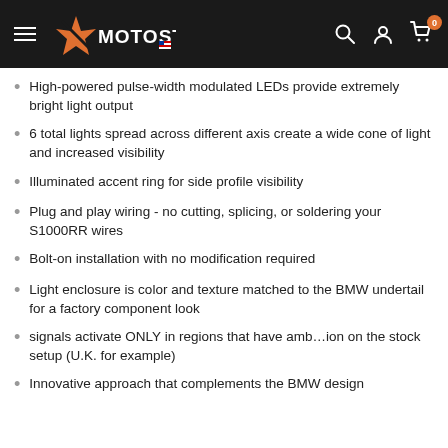MOTOSTARZ (logo) | search, account, cart icons
High-powered pulse-width modulated LEDs provide extremely bright light output
6 total lights spread across different axis create a wide cone of light and increased visibility
Illuminated accent ring for side profile visibility
Plug and play wiring - no cutting, splicing, or soldering your S1000RR wires
Bolt-on installation with no modification required
Light enclosure is color and texture matched to the BMW undertail for a factory component look
signals activate ONLY in regions that have amb...ion on the stock setup (U.K. for example)
Innovative approach that complements the BMW design